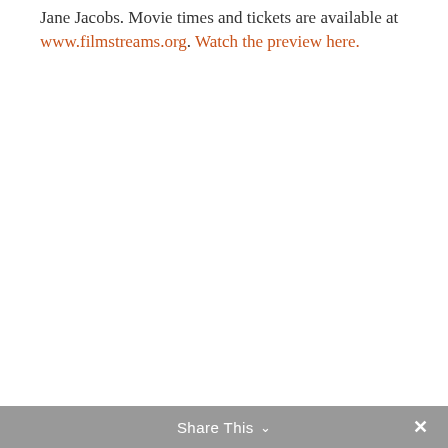Jane Jacobs. Movie times and tickets are available at www.filmstreams.org. Watch the preview here.
Share This ∨  ✕